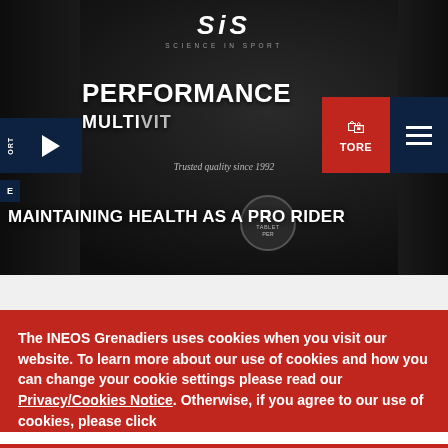[Figure (photo): Dark background photo showing SiS (Science in Sport) Performance Multivitamin supplement bottles/containers with white text labels. Branded product photography with dark moody lighting.]
MAINTAINING HEALTH AS A PRO RIDER
The INEOS Grenadiers uses cookies when you visit our website. To learn more about our use of cookies and how you can change your cookie settings please read our Privacy/Cookies Notice. Otherwise, if you agree to our use of cookies, please click
I accept.